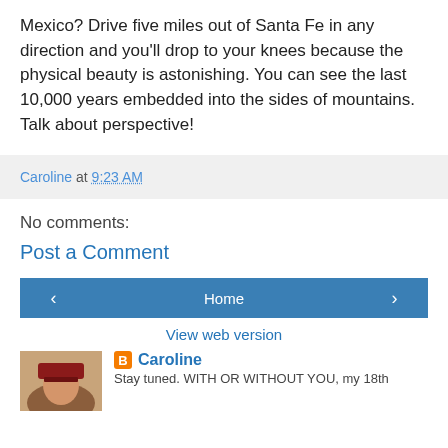Mexico? Drive five miles out of Santa Fe in any direction and you'll drop to your knees because the physical beauty is astonishing. You can see the last 10,000 years embedded into the sides of mountains. Talk about perspective!
Caroline at 9:23 AM
No comments:
Post a Comment
Home
View web version
Caroline
Stay tuned. WITH OR WITHOUT YOU, my 18th